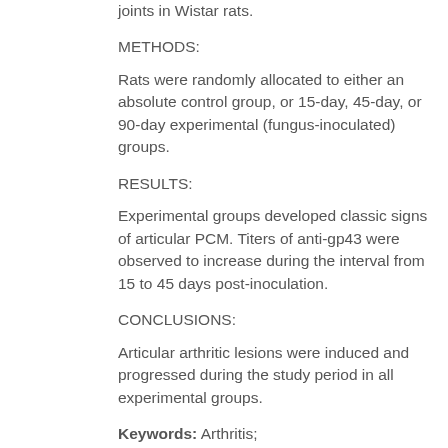joints in Wistar rats.
METHODS:
Rats were randomly allocated to either an absolute control group, or 15-day, 45-day, or 90-day experimental (fungus-inoculated) groups.
RESULTS:
Experimental groups developed classic signs of articular PCM. Titers of anti-gp43 were observed to increase during the interval from 15 to 45 days post-inoculation.
CONCLUSIONS:
Articular arthritic lesions were induced and progressed during the study period in all experimental groups.
Keywords: Arthritis; Paracoccidioidomycosis; Paracoccidioides brasiliensis
Paracoccidioidomycosis (PCM) is a systemic mycosis caused by the fungus Paracoccidioides brasiliensis(Pb), initially known as Brazilian blastomycosis, South American blastomycosis, or Lutz-Almeida-Splendore